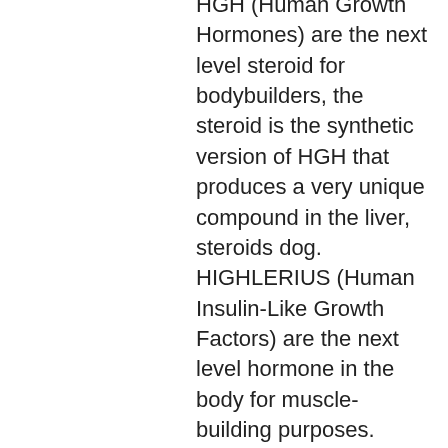HGH (Human Growth Hormones) are the next level steroid for bodybuilders, the steroid is the synthetic version of HGH that produces a very unique compound in the liver, steroids dog. HIGHLERIUS (Human Insulin-Like Growth Factors) are the next level hormone in the body for muscle-building purposes.
HIGHLERIUS are the next level hormone in the body for muscle-building purposes, clenbuterol doping. GENETICALLY MANAGED HOMES (HMG) are steroids that are genetically modified for strength enhancement. These are the steroid that is used for bodybuilding. You are looking for HMG steroids to increase your size, crazy bulk lebanon.
GENETICALLY MANAGED HOMES (HMG) are steroids that are genetically modified for strength enhancement. These are the steroid